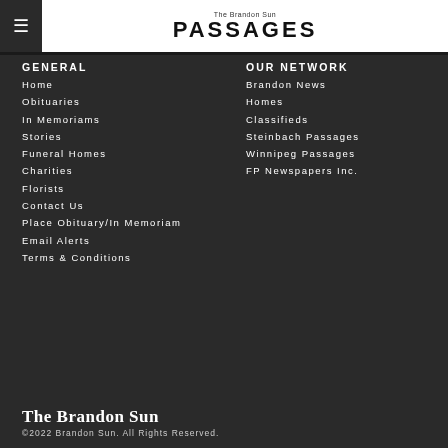The Brandon Sun PASSAGES
GENERAL
Home
Obituaries
In Memoriams
Stories
Funeral Homes
Charities
Florists
Contact Us
Place Obituary/In Memoriam
Email Alerts
Terms & Conditions
OUR NETWORK
Brandon News
Homes
Classifieds
Steinbach Passages
Winnipeg Passages
FP Newspapers Inc.
The Brandon Sun
©2022 Brandon Sun. All Rights Reserved.